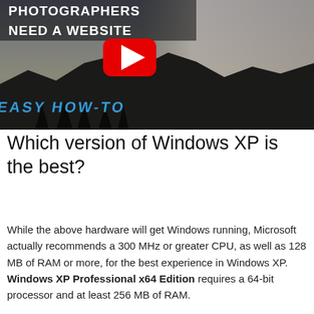[Figure (screenshot): YouTube video thumbnail showing a man in a plaid shirt next to an iMac with mountain background, text reads 'PHOTOGRAPHERS NEED A WEBSITE' at top and 'EASY HOW-TO' in blue at bottom, with YouTube play button in center]
Which version of Windows XP is the best?
While the above hardware will get Windows running, Microsoft actually recommends a 300 MHz or greater CPU, as well as 128 MB of RAM or more, for the best experience in Windows XP. Windows XP Professional x64 Edition requires a 64-bit processor and at least 256 MB of RAM.